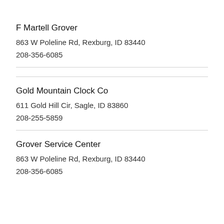F Martell Grover
863 W Poleline Rd, Rexburg, ID 83440
208-356-6085
Gold Mountain Clock Co
611 Gold Hill Cir, Sagle, ID 83860
208-255-5859
Grover Service Center
863 W Poleline Rd, Rexburg, ID 83440
208-356-6085